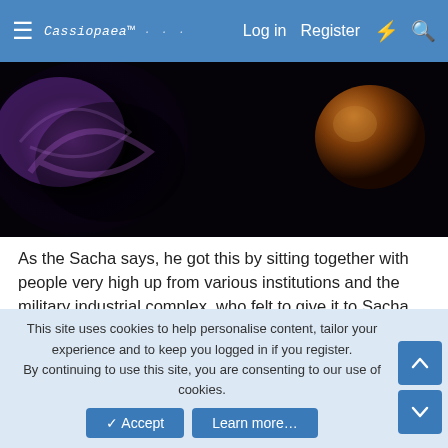Cassiopaea  Log in  Register
[Figure (photo): Dark space-themed image with purple swirling nebula on left and orange/brown planet or ball on right against black background]
As the Sacha says, he got this by sitting together with people very high up from various institutions and the military industrial complex, who felt to give it to Sacha 😒
Sacha has also come up with a life elixir, which will give immortality or close to it. It comes at just $825 for a months supply. It is called the Immortalis Klotho Protocol and is described by Sacha at this link. It is unclear how much Sacha's input is in this or just gives the airs that it is
This site uses cookies to help personalise content, tailor your experience and to keep you logged in if you register.
By continuing to use this site, you are consenting to our use of cookies.